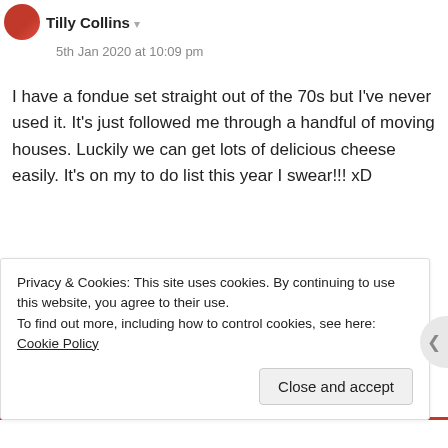Tilly Collins — 5th Jan 2020 at 10:09 pm
I have a fondue set straight out of the 70s but I've never used it. It's just followed me through a handful of moving houses. Luckily we can get lots of delicious cheese easily. It's on my to do list this year I swear!!! xD
★ Liked by 1 person
MJ Seal
Privacy & Cookies: This site uses cookies. By continuing to use this website, you agree to their use.
To find out more, including how to control cookies, see here: Cookie Policy
Close and accept